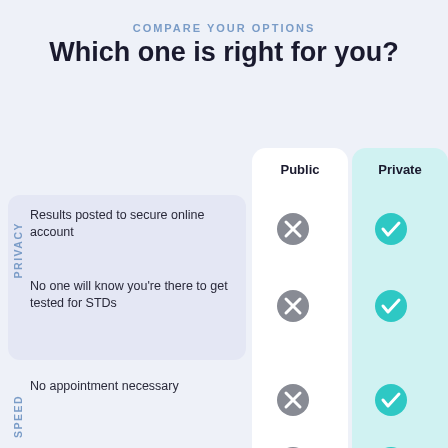COMPARE YOUR OPTIONS
Which one is right for you?
|  | Public | Private |
| --- | --- | --- |
| Results posted to secure online account | ✗ | ✓ |
| No one will know you're there to get tested for STDs | ✗ | ✓ |
| No appointment necessary | ✗ | ✓ |
| Results within 1-2 days | ✗ | ✓ |